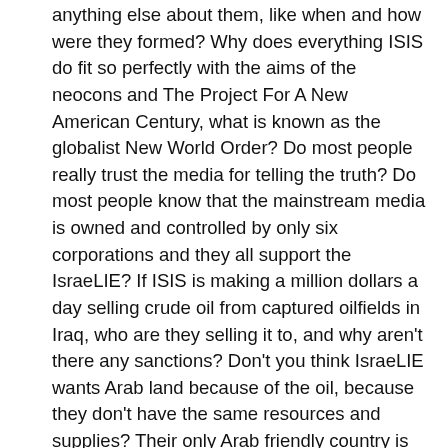anything else about them, like when and how were they formed?  Why does everything ISIS do fit so perfectly with the aims of the neocons and The Project For A New American Century, what is known as the globalist New World Order?  Do most people really trust the media for telling the truth?  Do most people know that the mainstream media is owned and controlled by only six corporations and they all support the IsraeLIE?  If ISIS is making a million dollars a day selling crude oil from captured oilfields in Iraq, who are they selling it to, and why aren't there any sanctions?  Don't you think IsraeLIE wants Arab land because of the oil, because they don't have the same resources and supplies?  Their only Arab friendly country is Saudi Arabia, and they're crypto-jews.  Well, you're not going to hear any answers from the above unless you go beyond the controlled jewish media.
One last thing and that's the drama unfolding in France.  Yet another theater of bloodshed and yet an obvious flow of disinformation to mold public opinion with the incident of a cartoon magazine that specializes in blasphemies, not just against Muslims, but depicting Jesus in a three way sex orgy with the Father and Holy Spirit.  This magazine, Charlie Hebdo,